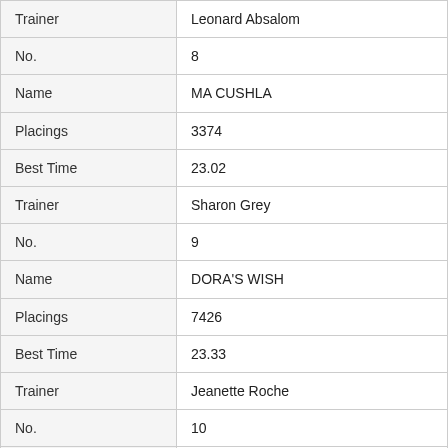| Field | Value |
| --- | --- |
| Trainer | Leonard Absalom |
| No. | 8 |
| Name | MA CUSHLA |
| Placings | 3374 |
| Best Time | 23.02 |
| Trainer | Sharon Grey |
| No. | 9 |
| Name | DORA'S WISH |
| Placings | 7426 |
| Best Time | 23.33 |
| Trainer | Jeanette Roche |
| No. | 10 |
| Name | VINNY'S RUBY |
| Placings | 8185 |
| Best Time | 22.83 |
| Trainer | Julie Mcgowan |